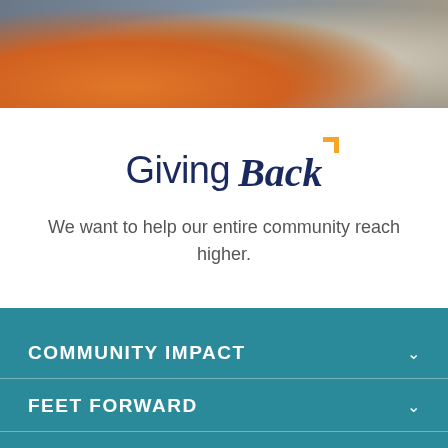[Figure (photo): Photo banner showing people smiling, wearing orange and light-colored shirts, cropped to show faces and upper bodies]
Giving Back
We want to help our entire community reach higher.
COMMUNITY IMPACT
FEET FORWARD
MOORE THAN A RACE